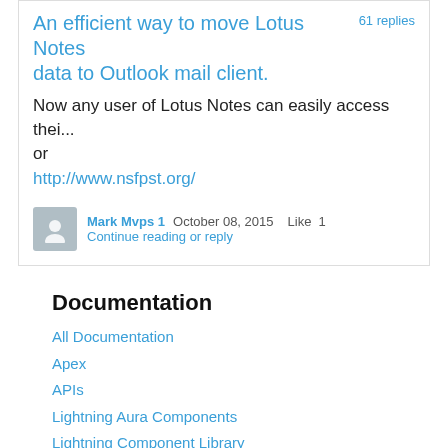An efficient way to move Lotus Notes data to Outlook mail client.
61 replies
Now any user of Lotus Notes can easily access thei...
or
http://www.nsfpst.org/
Mark Mvps 1   October 08, 2015   Like  1   Continue reading or reply
Documentation
All Documentation
Apex
APIs
Lightning Aura Components
Lightning Component Library
Developer Centers
Commerce Cloud
Community Cloud
Einstein Analytics
Einstein Platform
Embedded Service SDK for Mobile
Heroku Developer Center
Identity
Integration and APIs